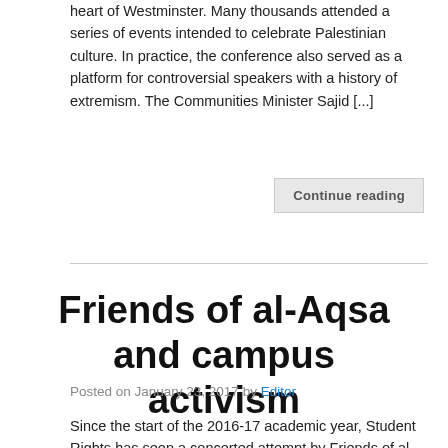heart of Westminster. Many thousands attended a series of events intended to celebrate Palestinian culture. In practice, the conference also served as a platform for controversial speakers with a history of extremism. The Communities Minister Sajid [...]
Continue reading
Friends of al-Aqsa and campus activism
Posted on January 23, 2017 by Editor
Since the start of the 2016-17 academic year, Student Rights has seen a concerted attempt by Friends of al-Aqsa to target students across the UK. In November, the group